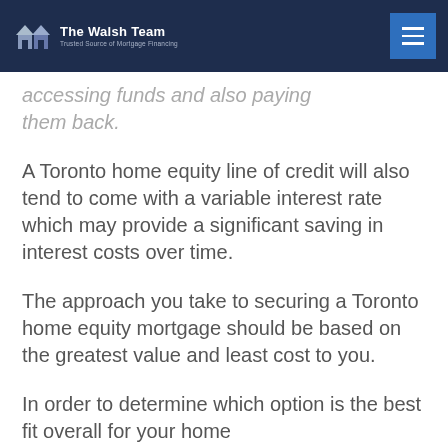The Walsh Team — Trusted Source of Mortgage Financing
accessing funds and also paying them back.
A Toronto home equity line of credit will also tend to come with a variable interest rate which may provide a significant saving in interest costs over time.
The approach you take to securing a Toronto home equity mortgage should be based on the greatest value and least cost to you.
In order to determine which option is the best fit overall for your home